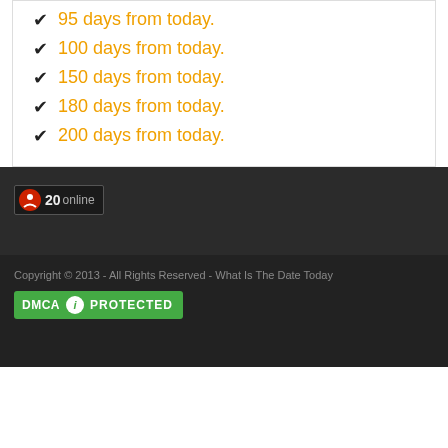95 days from today.
100 days from today.
150 days from today.
180 days from today.
200 days from today.
[Figure (infographic): Online visitors count badge showing 20 online]
Copyright © 2013 - All Rights Reserved - What Is The Date Today
[Figure (logo): DMCA Protected badge in green]